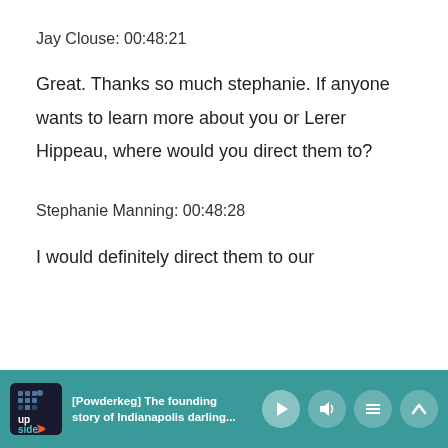Jay Clouse: 00:48:21
Great. Thanks so much stephanie. If anyone wants to learn more about you or Lerer Hippeau, where would you direct them to?
Stephanie Manning: 00:48:28
I would definitely direct them to our
[Figure (screenshot): Podcast player bar showing Upside podcast app with episode title '[Powderkeg] The founding story of Indianapolis darling...' and playback controls]